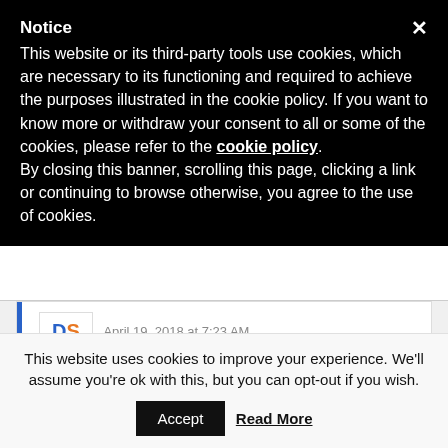Notice
This website or its third-party tools use cookies, which are necessary to its functioning and required to achieve the purposes illustrated in the cookie policy. If you want to know more or withdraw your consent to all or some of the cookies, please refer to the cookie policy. By closing this banner, scrolling this page, clicking a link or continuing to browse otherwise, you agree to the use of cookies.
April 19, 2018 at 7:23 AM
OMG hilarious Adam! You looking for a gig as our producer- you're hired!!
Reply
This website uses cookies to improve your experience. We'll assume you're ok with this, but you can opt-out if you wish.
Accept
Read More